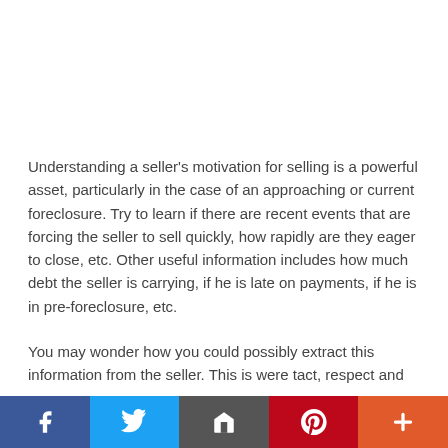Understanding a seller's motivation for selling is a powerful asset, particularly in the case of an approaching or current foreclosure. Try to learn if there are recent events that are forcing the seller to sell quickly, how rapidly are they eager to close, etc. Other useful information includes how much debt the seller is carrying, if he is late on payments, if he is in pre-foreclosure, etc.
You may wonder how you could possibly extract this information from the seller. This is were tact, respect and patience come into play. Try to draw them out slowly by